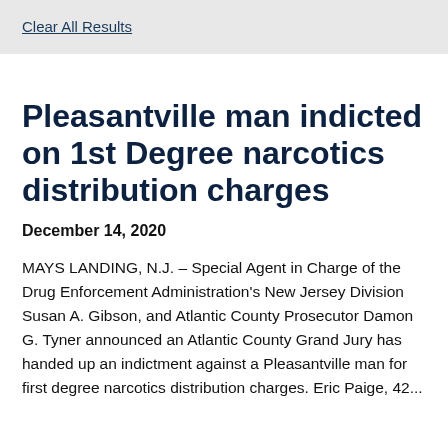Clear All Results
Pleasantville man indicted on 1st Degree narcotics distribution charges
December 14, 2020
MAYS LANDING, N.J. – Special Agent in Charge of the Drug Enforcement Administration's New Jersey Division Susan A. Gibson, and Atlantic County Prosecutor Damon G. Tyner announced an Atlantic County Grand Jury has handed up an indictment against a Pleasantville man for first degree narcotics distribution charges. Eric Paige, 42...